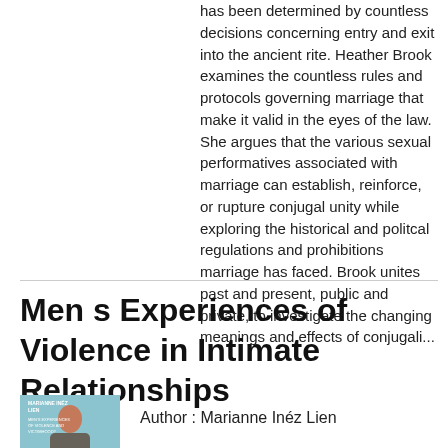has been determined by countless decisions concerning entry and exit into the ancient rite. Heather Brook examines the countless rules and protocols governing marriage that make it valid in the eyes of the law. She argues that the various sexual performatives associated with marriage can establish, reinforce, or rupture conjugal unity while exploring the historical and politcal regulations and prohibitions marriage has faced. Brook unites past and present, public and private, to investigate the changing meanings and effects of conjugali...
Men s Experiences of Violence in Intimate Relationships
[Figure (illustration): Book cover thumbnail with light blue background and a person figure]
Author : Marianne Inéz Lien